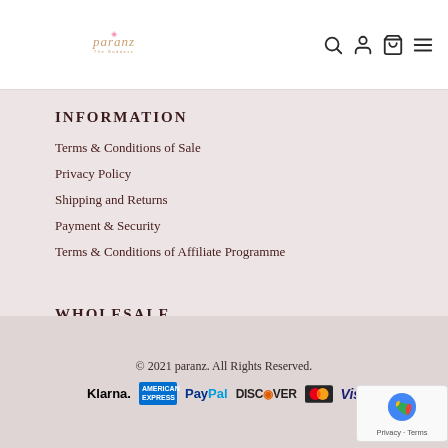Paranz - The Goddess [logo with navigation icons: search, account, bag, menu]
INFORMATION
Terms & Conditions of Sale
Privacy Policy
Shipping and Returns
Payment & Security
Terms & Conditions of Affiliate Programme
WHOLESALE
USA
Canada
Affliate-Influencer
© 2021 paranz. All Rights Reserved. [Payment logos: Klarna, American Express, PayPal, Discover, Mastercard, Visa]